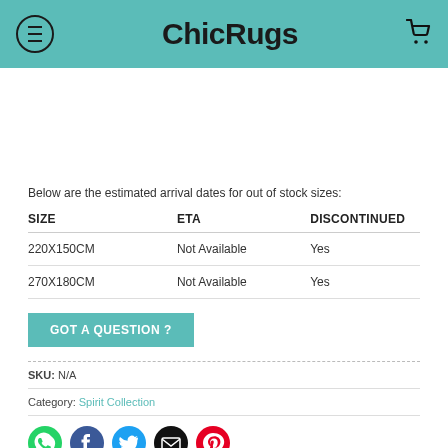ChicRugs
Below are the estimated arrival dates for out of stock sizes:
| SIZE | ETA | DISCONTINUED |
| --- | --- | --- |
| 220X150CM | Not Available | Yes |
| 270X180CM | Not Available | Yes |
GOT A QUESTION ?
SKU: N/A
Category: Spirit Collection